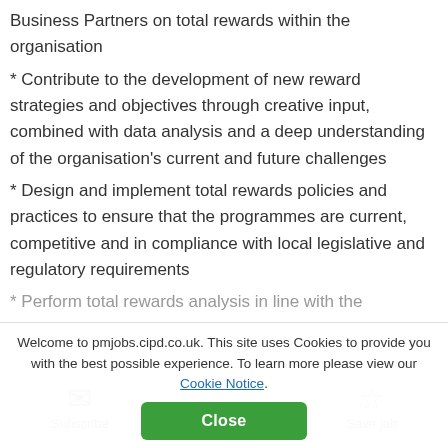Business Partners on total rewards within the organisation
* Contribute to the development of new reward strategies and objectives through creative input, combined with data analysis and a deep understanding of the organisation's current and future challenges
* Design and implement total rewards policies and practices to ensure that the programmes are current, competitive and in compliance with local legislative and regulatory requirements
* Perform total rewards analysis in line with the
Welcome to pmjobs.cipd.co.uk. This site uses Cookies to provide you with the best possible experience. To learn more please view our Cookie Notice.